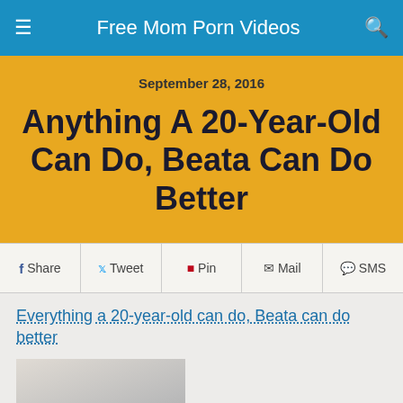Free Mom Porn Videos
September 28, 2016
Anything A 20-Year-Old Can Do, Beata Can Do Better
Share  Tweet  Pin  Mail  SMS
Everything a 20-year-old can do, Beata can do better
[Figure (photo): Partial photo of a woman with curly blonde hair wearing a light pink top, appearing at bottom left of page]